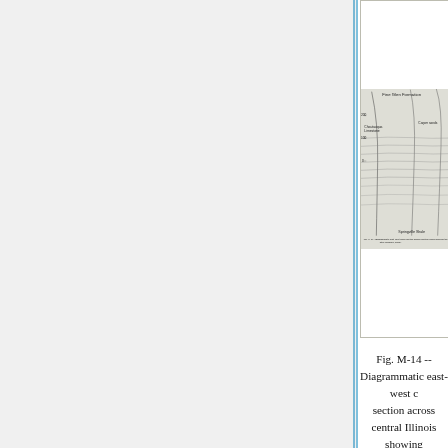[Figure (engineering-diagram): Partial view of a diagrammatic east-west cross section diagram showing geological formations including Fine Glen Formation, Chautauqua Limestone, Carper sands, and Springville Shale layers.]
Fig. M-14 -- Diagrammatic east-west cross section across central Illinois showing Borden Siltstone delta (after Lineback, 1968).
Extent and thickness
The Borden Siltstone forms an elongate, tongue-shaped delta immediately east of the pinchout of the Burlington and Keokuk Limestones. It is continuous with the Borden Group of Indiana. The formation reaches more than 650 feet thick (fig. M-16), but it does not crop out in Illinois.